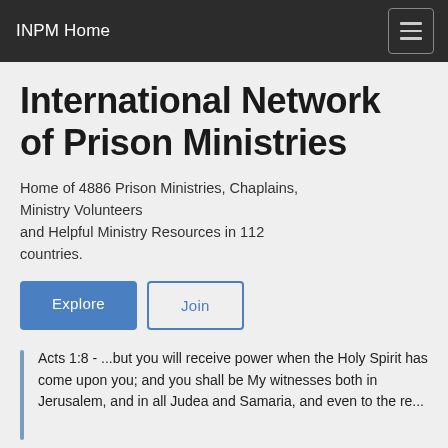INPM Home
International Network of Prison Ministries
Home of 4886 Prison Ministries, Chaplains, Ministry Volunteers and Helpful Ministry Resources in 112 countries.
Explore   Join
Acts 1:8 - ...but you will receive power when the Holy Spirit has come upon you; and you shall be My witnesses both in Jerusalem, and in all Judea and Samaria, and even to the re...